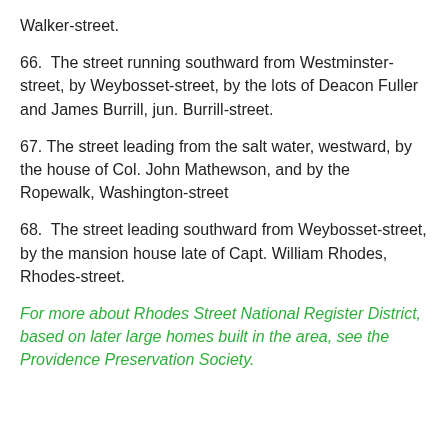Walker-street.
66.  The street running southward from Westminster-street, by Weybosset-street, by the lots of Deacon Fuller and James Burrill, jun. Burrill-street.
67. The street leading from the salt water, westward, by the house of Col. John Mathewson, and by the Ropewalk, Washington-street
68.  The street leading southward from Weybosset-street, by the mansion house late of Capt. William Rhodes, Rhodes-street.
For more about Rhodes Street National Register District, based on later large homes built in the area, see the Providence Preservation Society.